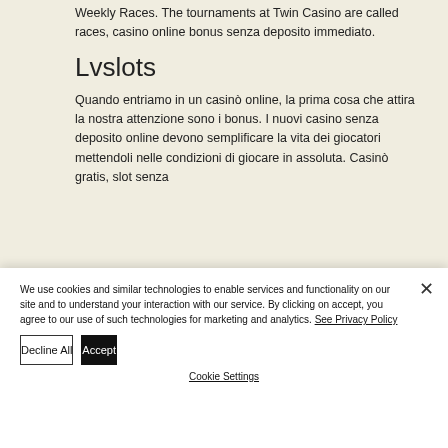Weekly Races. The tournaments at Twin Casino are called races, casino online bonus senza deposito immediato.
Lvslots
Quando entriamo in un casinò online, la prima cosa che attira la nostra attenzione sono i bonus. I nuovi casino senza deposito online devono semplificare la vita dei giocatori mettendoli nelle condizioni di giocare in assoluta. Casinò gratis, slot senza deposito...
We use cookies and similar technologies to enable services and functionality on our site and to understand your interaction with our service. By clicking on accept, you agree to our use of such technologies for marketing and analytics. See Privacy Policy
Decline All
Accept
Cookie Settings